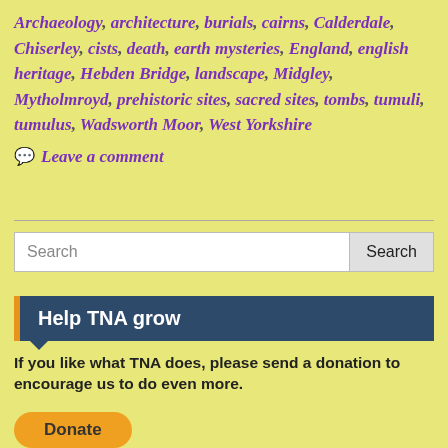Archaeology, architecture, burials, cairns, Calderdale, Chiserley, cists, death, earth mysteries, England, english heritage, Hebden Bridge, landscape, Midgley, Mytholmroyd, prehistoric sites, sacred sites, tombs, tumuli, tumulus, Wadsworth Moor, West Yorkshire
Leave a comment
Help TNA grow
If you like what TNA does, please send a donation to encourage us to do even more.
Donate
Recent Posts
Shooting House East, Askwith Moor, North Yorkshire